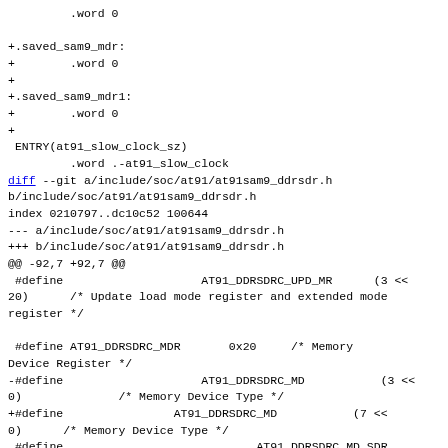.word 0

+.saved_sam9_mdr:
+        .word 0
+
+.saved_sam9_mdr1:
+        .word 0
+
 ENTRY(at91_slow_clock_sz)
         .word .-at91_slow_clock
diff --git a/include/soc/at91/at91sam9_ddrsdr.h b/include/soc/at91/at91sam9_ddrsdr.h
index 0210797..dc10c52 100644
--- a/include/soc/at91/at91sam9_ddrsdr.h
+++ b/include/soc/at91/at91sam9_ddrsdr.h
@@ -92,7 +92,7 @@
 #define                     AT91_DDRSDRC_UPD_MR      (3 <<
20)      /* Update load mode register and extended mode
register */

 #define AT91_DDRSDRC_MDR       0x20     /* Memory
Device Register */
-#define                     AT91_DDRSDRC_MD           (3 <<
0)              /* Memory Device Type */
+#define                 AT91_DDRSDRC_MD           (7 <<
0)      /* Memory Device Type */
 #define                             AT91_DDRSDRC_MD_SDR
0
 #define
AT91_DDRSDRC_MD_LOW_POWER_SDR  1